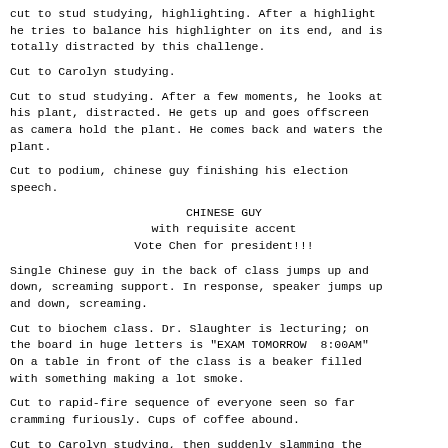cut to stud studying, highlighting. After a highlight he tries to balance his highlighter on its end, and is totally distracted by this challenge.
Cut to Carolyn studying.
Cut to stud studying. After a few moments, he looks at his plant, distracted. He gets up and goes offscreen as camera hold the plant. He comes back and waters the plant.
Cut to podium, chinese guy finishing his election speech.
CHINESE GUY
with requisite accent
Vote Chen for president!!!
Single Chinese guy in the back of class jumps up and down, screaming support. In response, speaker jumps up and down, screaming.
Cut to biochem class. Dr. Slaughter is lecturing; on the board in huge letters is "EXAM TOMORROW  8:00AM" On a table in front of the class is a beaker filled with something making a lot smoke.
Cut to rapid-fire sequence of everyone seen so far cramming furiously. Cups of coffee abound.
Cut to Carolyn studying, then suddenly slamming the